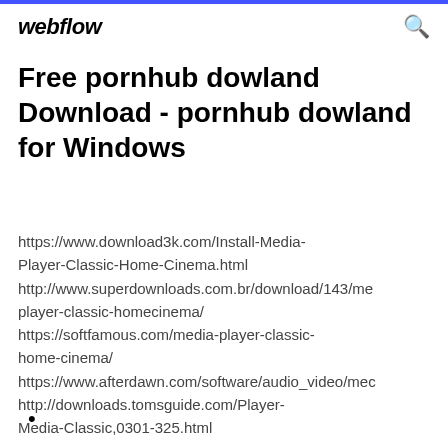webflow
Free pornhub dowland Download - pornhub dowland for Windows
https://www.download3k.com/Install-Media-Player-Classic-Home-Cinema.html http://www.superdownloads.com.br/download/143/me player-classic-homecinema/ https://softfamous.com/media-player-classic-home-cinema/ https://www.afterdawn.com/software/audio_video/mec http://downloads.tomsguide.com/Player-Media-Classic,0301-325.html
•